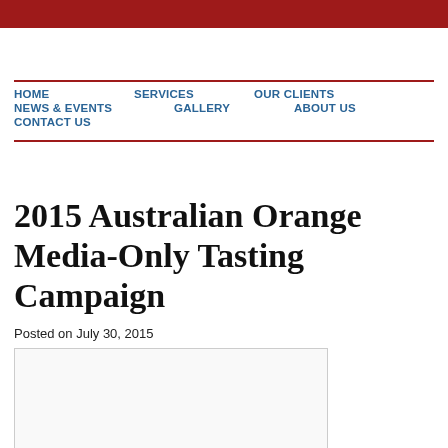HOME
SERVICES
OUR CLIENTS
NEWS & EVENTS
GALLERY
ABOUT US
CONTACT US
2015 Australian Orange Media-Only Tasting Campaign
Posted on July 30, 2015
[Figure (photo): Empty white image placeholder with light grey border]